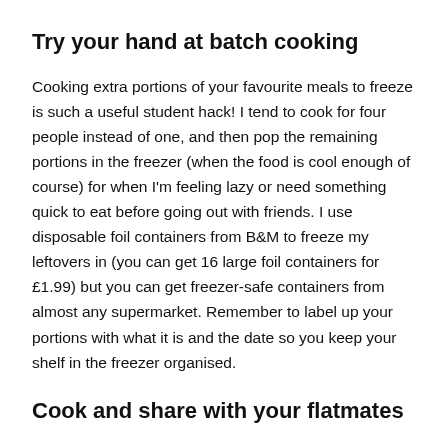Try your hand at batch cooking
Cooking extra portions of your favourite meals to freeze is such a useful student hack! I tend to cook for four people instead of one, and then pop the remaining portions in the freezer (when the food is cool enough of course) for when I'm feeling lazy or need something quick to eat before going out with friends. I use disposable foil containers from B&M to freeze my leftovers in (you can get 16 large foil containers for £1.99) but you can get freezer-safe containers from almost any supermarket. Remember to label up your portions with what it is and the date so you keep your shelf in the freezer organised.
Cook and share with your flatmates